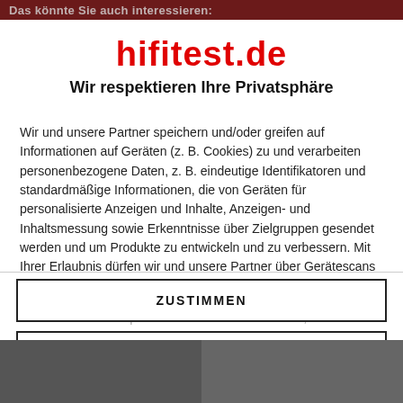Das könnte Sie auch interessieren:
hifitest.de
Wir respektieren Ihre Privatsphäre
Wir und unsere Partner speichern und/oder greifen auf Informationen auf Geräten (z. B. Cookies) zu und verarbeiten personenbezogene Daten, z. B. eindeutige Identifikatoren und standardmäßige Informationen, die von Geräten für personalisierte Anzeigen und Inhalte, Anzeigen- und Inhaltsmessung sowie Erkenntnisse über Zielgruppen gesendet werden und um Produkte zu entwickeln und zu verbessern. Mit Ihrer Erlaubnis dürfen wir und unsere Partner über Gerätescans genaue Standortdaten und Kenndaten abfragen. Sie können auf die entsprechende Schaltfläche klicken, um der o. a.
ZUSTIMMEN
MEHR OPTIONEN